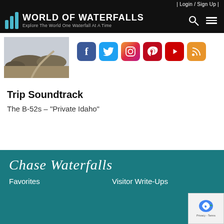| Login / Sign Up |
[Figure (logo): World of Waterfalls logo with three blue vertical bars and text 'World of Waterfalls — Explore The World One Waterfall At A Time' on black background]
[Figure (photo): Thumbnail photo of a desert landscape with hills and a winding road]
[Figure (infographic): Social media icon buttons: Facebook, Twitter, Instagram, Pinterest, YouTube, RSS feed]
Trip Soundtrack
The B-52s – "Private Idaho"
[Figure (logo): Chase Waterfalls script logo in white on teal background]
Favorites
Visitor Write-Ups